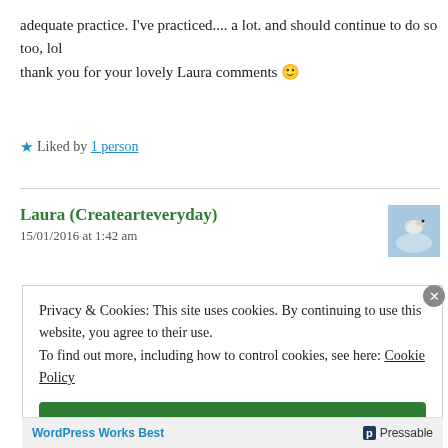adequate practice. I've practiced.... a lot. and should continue to do so too, lol
thank you for your lovely Laura comments 🙂
★ Liked by 1 person
Laura (Createarteveryday)
15/01/2016 at 1:42 am
[Figure (photo): Avatar photo of a bird against a blue sky]
Privacy & Cookies: This site uses cookies. By continuing to use this website, you agree to their use.
To find out more, including how to control cookies, see here: Cookie Policy
Close and accept
WordPress Works Best  Pressable